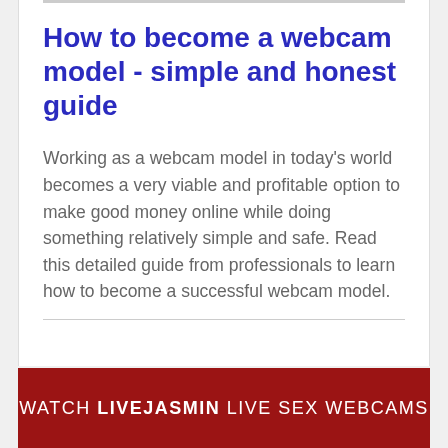How to become a webcam model - simple and honest guide
Working as a webcam model in today's world becomes a very viable and profitable option to make good money online while doing something relatively simple and safe. Read this detailed guide from professionals to learn how to become a successful webcam model.
WATCH LIVEJASMIN LIVE SEX WEBCAMS